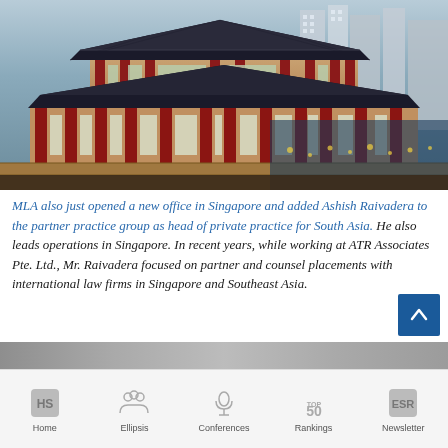[Figure (photo): Aerial/street view photograph of an ornate traditional East Asian temple or pavilion with red columns and dark tiled roofs in the foreground, with modern city high-rise buildings visible in the background.]
MLA also just opened a new office in Singapore and added Ashish Raivadera to the partner practice group as head of private practice for South Asia. He also leads operations in Singapore. In recent years, while working at ATR Associates Pte. Ltd., Mr. Raivadera focused on partner and counsel placements with international law firms in Singapore and Southeast Asia.
[Figure (photo): Partially visible image at bottom of page, appears blurred/gray.]
Home   Ellipsis   Conferences   Rankings   Newsletter